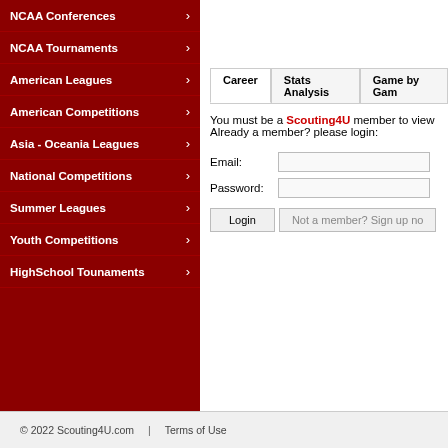NCAA Conferences
NCAA Tournaments
American Leagues
American Competitions
Asia - Oceania Leagues
National Competitions
Summer Leagues
Youth Competitions
HighSchool Tounaments
Career | Stats Analysis | Game by Game
You must be a Scouting4U member to view
Already a member? please login:
Email:
Password:
Login   Not a member? Sign up no
© 2022 Scouting4U.com | Terms of Use